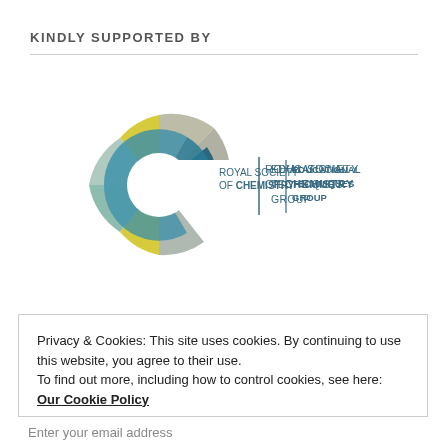KINDLY SUPPORTED BY
[Figure (logo): Royal Society of Chemistry Educational Techniques Group logo — circular mosaic C shape in teal, grey, green and yellow segments, with text ROYAL SOCIETY OF CHEMISTRY | EDUCATIONAL TECHNIQUES GROUP]
Privacy & Cookies: This site uses cookies. By continuing to use this website, you agree to their use.
To find out more, including how to control cookies, see here: Our Cookie Policy
Close and accept
Enter your email address